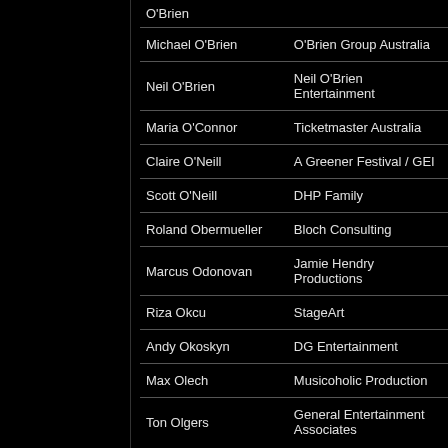| Name | Organization |
| --- | --- |
| O'Brien |  |
| Michael O'Brien | O'Brien Group Australia |
| Neil O'Brien | Neil O'Brien Entertainment |
| Maria O'Connor | Ticketmaster Australia |
| Claire O'Neill | A Greener Festival / GEI |
| Scott O'Neill | DHP Family |
| Roland Obermueller | Bloch Consulting |
| Marcus Odonovan | Jamie Hendry Productions |
| Riza Okcu | StageArt |
| Andy Okoskyn | DG Entertainment |
| Max Olech | Musicoholic Production |
| Ton Olgers | General Entertainment Associates |